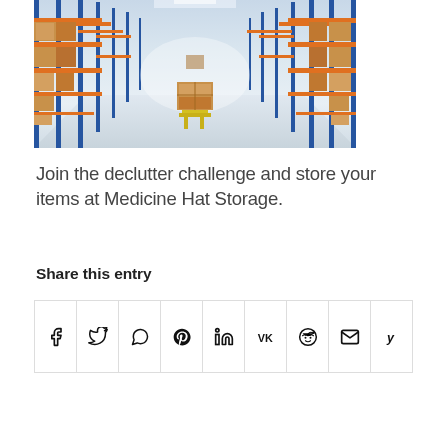[Figure (photo): Warehouse interior with tall blue and orange metal shelving racks lined with cardboard boxes on both sides. A yellow pallet jack carries stacked boxes in the center aisle. Bright overhead lighting illuminates a long perspective view.]
Join the declutter challenge and store your items at Medicine Hat Storage.
Share this entry
[Figure (infographic): A row of 9 social share icon buttons in a bordered grid: Facebook (f), Twitter (bird/X), WhatsApp (phone), Pinterest (P), LinkedIn (in), VK (VK), Reddit (alien), Mail (envelope), Yelp (y).]